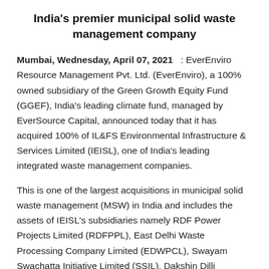India's premier municipal solid waste management company
Mumbai, Wednesday, April 07, 2021 : EverEnviro Resource Management Pvt. Ltd. (EverEnviro), a 100% owned subsidiary of the Green Growth Equity Fund (GGEF), India's leading climate fund, managed by EverSource Capital, announced today that it has acquired 100% of IL&FS Environmental Infrastructure & Services Limited (IEISL), one of India's leading integrated waste management companies.
This is one of the largest acquisitions in municipal solid waste management (MSW) in India and includes the assets of IEISL's subsidiaries namely RDF Power Projects Limited (RDFPPL), East Delhi Waste Processing Company Limited (EDWPCL), Swayam Swachatta Initiative Limited (SSIL), Dakshin Dilli